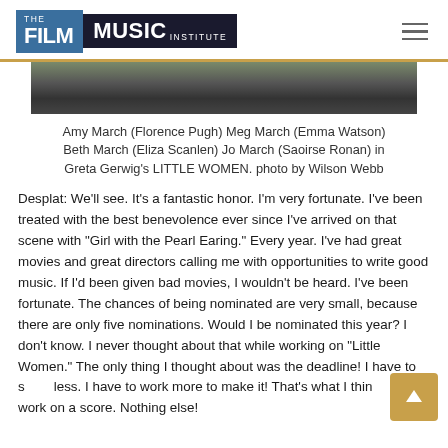THE FILM MUSIC INSTITUTE
[Figure (photo): Partial top of a photograph showing the four March sisters from Greta Gerwig's Little Women film]
Amy March (Florence Pugh) Meg March (Emma Watson) Beth March (Eliza Scanlen) Jo March (Saoirse Ronan) in Greta Gerwig's LITTLE WOMEN. photo by Wilson Webb
Desplat: We'll see. It's a fantastic honor. I'm very fortunate. I've been treated with the best benevolence ever since I've arrived on that scene with "Girl with the Pearl Earing." Every year. I've had great movies and great directors calling me with opportunities to write good music. If I'd been given bad movies, I wouldn't be heard. I've been fortunate. The chances of being nominated are very small, because there are only five nominations. Would I be nominated this year? I don't know. I never thought about that while working on "Little Women." The only thing I thought about was the deadline! I have to s... less. I have to work more to make it! That's what I thin... work on a score. Nothing else!